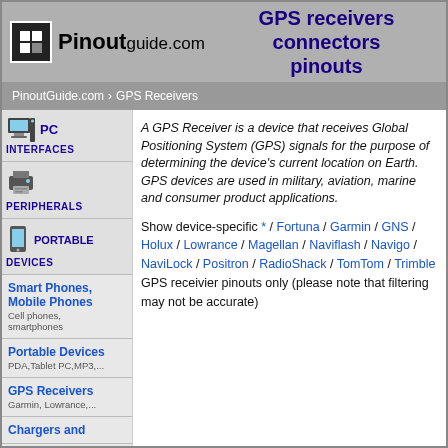Pinoutguide.com — GPS receivers connectors pinouts
PinoutGuide.com › GPS Receivers
A GPS Receiver is a device that receives Global Positioning System (GPS) signals for the purpose of determining the device's current location on Earth. GPS devices are used in military, aviation, marine and consumer product applications.
Show device-specific * / Fortuna / Garmin / GNS / Holux / Lowrance / Magellan / Naviflash / Navigo / NaviLock / Positron / RadioShack / TomTom / Trimble GPS receivier pinouts only (please note that filtering may not be accurate)
PC — INTERFACES
PERIPHERALS
PORTABLE DEVICES
Smart Phones, Mobile Phones — Cell phones, smartphones
Portable Devices — PDA,Tablet PC,MP3,...
GPS Receivers — Garmin, Lowrance,...
Chargers and